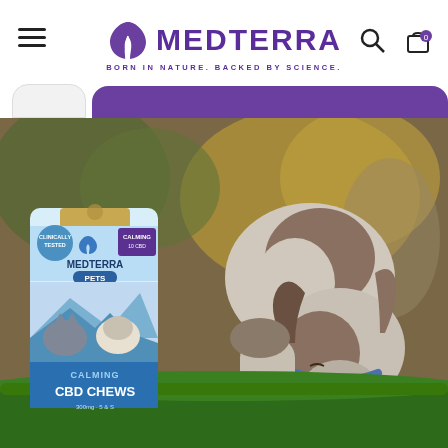Medterra — Born in Nature. Backed by Science. Navigation header with hamburger menu, logo, search and cart icons, and tab navigation.
[Figure (photo): A French Bulldog sniffing a Medterra Pets Calming CBD Chews product package on a grassy outdoor surface, with blurred trees and warm bokeh background.]